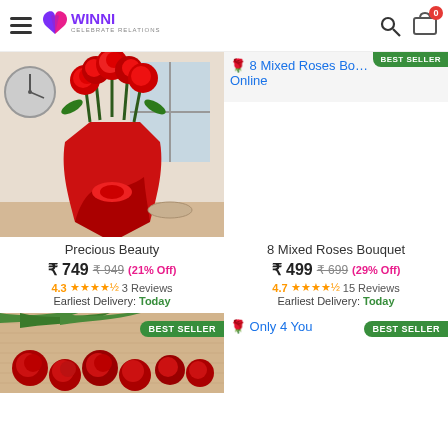WINNI - CELEBRATE RELATIONS
[Figure (photo): Red roses bouquet wrapped in red paper - Precious Beauty product]
8 Mixed Roses Bouquet Online - BEST SELLER
Precious Beauty
₹ 749  ₹ 949  (21% Off)
4.3★★★★☆ 3 Reviews
Earliest Delivery: Today
8 Mixed Roses Bouquet
₹ 499  ₹ 699  (29% Off)
4.7★★★★☆ 15 Reviews
Earliest Delivery: Today
[Figure (photo): Red roses on burlap background - BEST SELLER]
Only 4 You - BEST SELLER